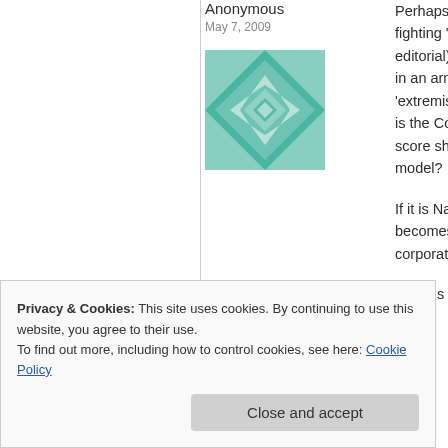Anonymous
May 7, 2009
[Figure (illustration): Avatar image: teal/green geometric quilt-pattern square avatar for anonymous user]
Perhaps Raman fighting 'leftist editorial) show in an army of 4 'extremists' tha is the Congress score short ter model?

If it is Nandigra becomes 'deve corporate mafi

A law is perfect
Privacy & Cookies: This site uses cookies. By continuing to use this website, you agree to their use.
To find out more, including how to control cookies, see here: Cookie Policy
Close and accept